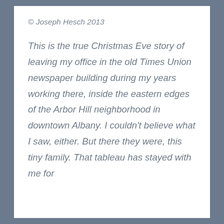© Joseph Hesch 2013
This is the true Christmas Eve story of leaving my office in the old Times Union newspaper building during my years working there, inside the eastern edges of the Arbor Hill neighborhood in downtown Albany. I couldn't believe what I saw, either. But there they were, this tiny family. That tableau has stayed with me for